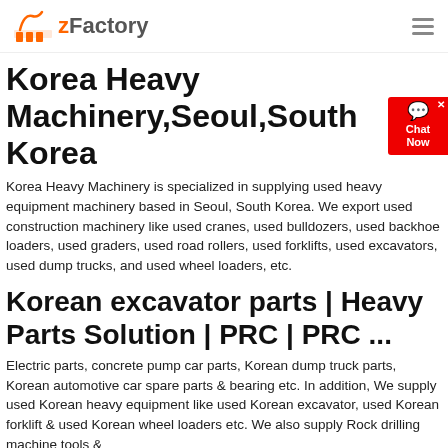zFactory
Korea Heavy Machinery,Seoul,South Korea
Korea Heavy Machinery is specialized in supplying used heavy equipment machinery based in Seoul, South Korea. We export used construction machinery like used cranes, used bulldozers, used backhoe loaders, used graders, used road rollers, used forklifts, used excavators, used dump trucks, and used wheel loaders, etc.
Korean excavator parts | Heavy Parts Solution | PRC | PRC ...
Electric parts, concrete pump car parts, Korean dump truck parts, Korean automotive car spare parts & bearing etc. In addition, We supply used Korean heavy equipment like used Korean excavator, used Korean forklift & used Korean wheel loaders etc. We also supply Rock drilling machine tools &
Global heavy